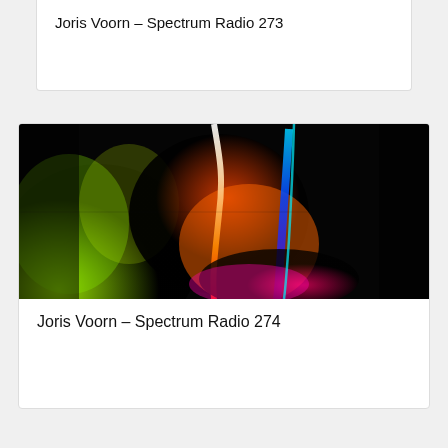Joris Voorn – Spectrum Radio 273
[Figure (photo): Abstract colorful thermal or spectrum visualization image showing bright green, yellow, red, orange, blue, and magenta streaks on a dark/black background, resembling a heat map or spectral analysis display]
Joris Voorn – Spectrum Radio 274